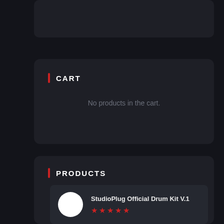[Figure (screenshot): Top card - dark rounded rectangle partially visible at top of page]
CART
No products in the cart.
PRODUCTS
StudioPlug Official Drum Kit V.1